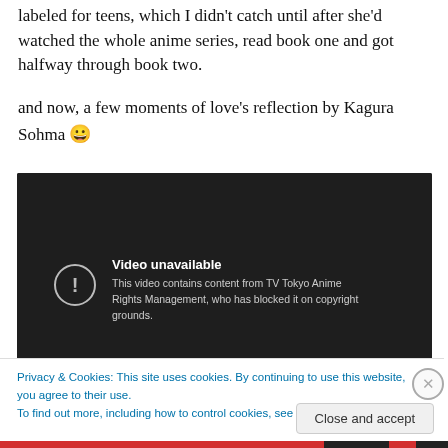labeled for teens, which I didn't catch until after she'd watched the whole anime series, read book one and got halfway through book two.
and now, a few moments of love's reflection by Kagura Sohma 😀
[Figure (screenshot): Embedded video player showing 'Video unavailable' message. Text reads: 'This video contains content from TV Tokyo Anime Rights Management, who has blocked it on copyright']
Privacy & Cookies: This site uses cookies. By continuing to use this website, you agree to their use.
To find out more, including how to control cookies, see here: Cookie Policy